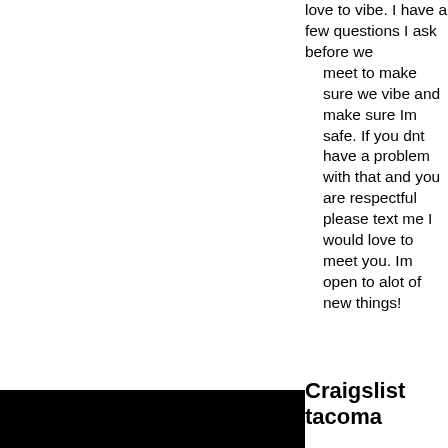love to vibe. I have a few questions I ask before we meet to make sure we vibe and make sure Im safe. If you dnt have a problem with that and you are respectful please text me I would love to meet you. Im open to alot of new things!
Craigslist tacoma
[Figure (other): Black rectangle bar at bottom left of page]